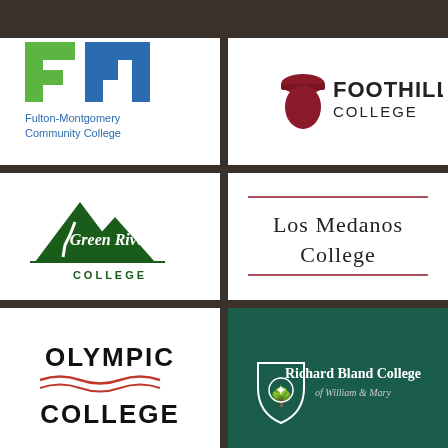[Figure (logo): Fulton-Montgomery Community College logo with FM letters in green and blue]
[Figure (logo): Foothill College logo with acorn icon in dark red]
[Figure (logo): Green River College logo with green mountain illustration]
[Figure (logo): Los Medanos College logo in serif text with red underline]
[Figure (logo): Olympic College logo in bold black text with red wave]
[Figure (logo): Richard Bland College of William and Mary logo on dark green background]